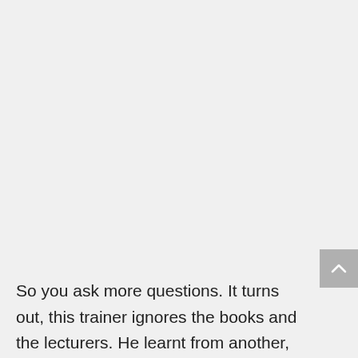[Figure (other): Scroll-to-top button with upward chevron arrow, positioned at the right side of the page]
So you ask more questions. It turns out, this trainer ignores the books and the lecturers. He learnt from another, older trainer, who was also really big, who recommended 15 reps. It